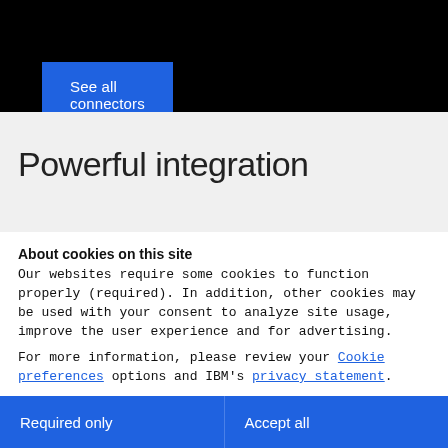[Figure (screenshot): Black top banner background]
See all connectors
Powerful integration
About cookies on this site
Our websites require some cookies to function properly (required). In addition, other cookies may be used with your consent to analyze site usage, improve the user experience and for advertising.

For more information, please review your Cookie preferences options and IBM's privacy statement.
Required only
Accept all